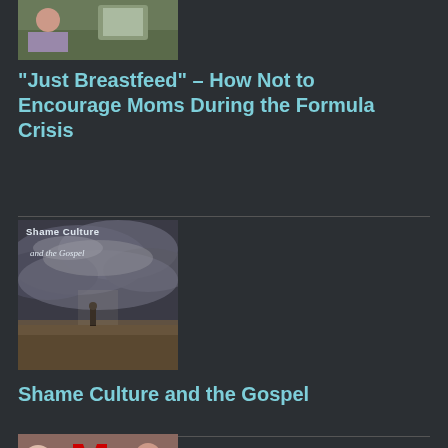[Figure (photo): Thumbnail image for article about breastfeeding and formula crisis]
“Just Breastfeed” – How Not to Encourage Moms During the Formula Crisis
[Figure (photo): Book/article cover image with dramatic cloudy sky, figure standing in landscape, text reads 'Shame Culture' and 'and the Gospel']
Shame Culture and the Gospel
[Figure (photo): Thumbnail image for a third article, partially visible at bottom of page]